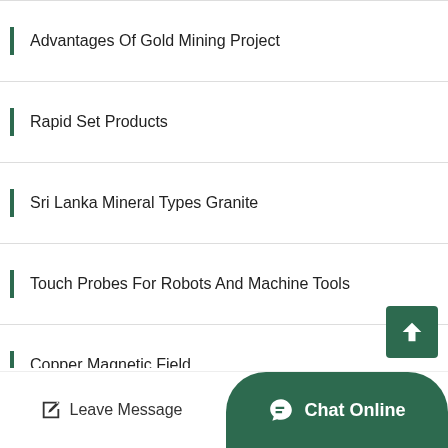Advantages Of Gold Mining Project
Rapid Set Products
Sri Lanka Mineral Types Granite
Touch Probes For Robots And Machine Tools
Copper Magnetic Field
Rosetta Proyek Pasir Mineral Berat
Posho Machine Prices
Leave Message   Chat Online